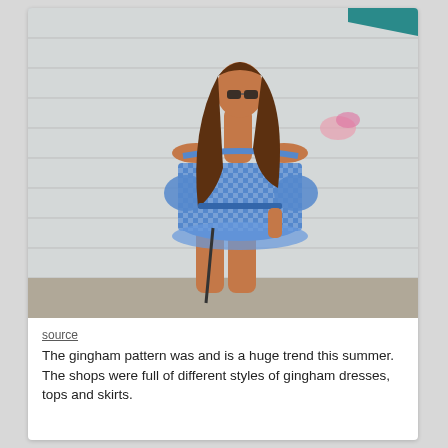[Figure (photo): A woman wearing a blue and white gingham off-the-shoulder dress with ruffle sleeves and a tied waist, standing outdoors against a white wall. She is wearing sunglasses and holding a dark bag.]
source
The gingham pattern was and is a huge trend this summer. The shops were full of different styles of gingham dresses, tops and skirts.